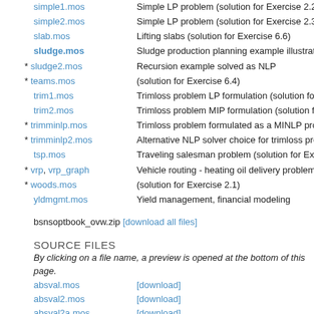simple1.mos — Simple LP problem (solution for Exercise 2.2)
simple2.mos — Simple LP problem (solution for Exercise 2.3)
slab.mos — Lifting slabs (solution for Exercise 6.6)
sludge.mos — Sludge production planning example illustrating
* sludge2.mos — Recursion example solved as NLP
* teams.mos — (solution for Exercise 6.4)
trim1.mos — Trimloss problem LP formulation (solution for Ex
trim2.mos — Trimloss problem MIP formulation (solution for E
* trimminlp.mos — Trimloss problem formulated as a MINLP proble
* trimminlp2.mos — Alternative NLP solver choice for trimloss proble
tsp.mos — Traveling salesman problem (solution for Exercis
* vrp, vrp_graph — Vehicle routing - heating oil delivery problem
* woods.mos — (solution for Exercise 2.1)
yldmgmt.mos — Yield management, financial modeling
bsnsoptbook_ovw.zip [download all files]
SOURCE FILES
By clicking on a file name, a preview is opened at the bottom of this page.
absval.mos [download]
absval2.mos [download]
absval2a.mos [download]
bench101.mos [download]
bench102.mos [download]
boat.mos [download]
boat2.mos [download]